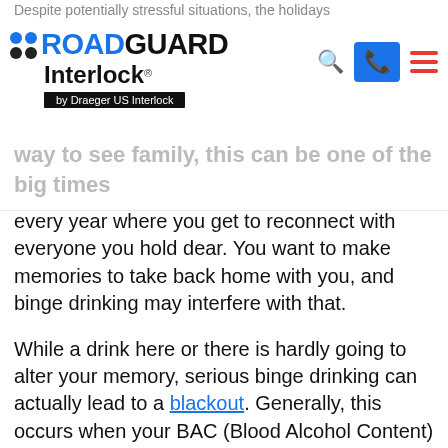Despite potentially stressful situations, the holidays
[Figure (logo): RoadGuard Interlock logo by Draeger US Interlock]
way to see family, this can be one of the big times every year where you get to reconnect with everyone you hold dear. You want to make memories to take back home with you, and binge drinking may interfere with that.
While a drink here or there is hardly going to alter your memory, serious binge drinking can actually lead to a blackout. Generally, this occurs when your BAC (Blood Alcohol Content) reaches 0.14%. At this point, your brain may be unable to form short term memories. Aside from this being a dangerous situation to get yourself into, it also means that holiday memories will